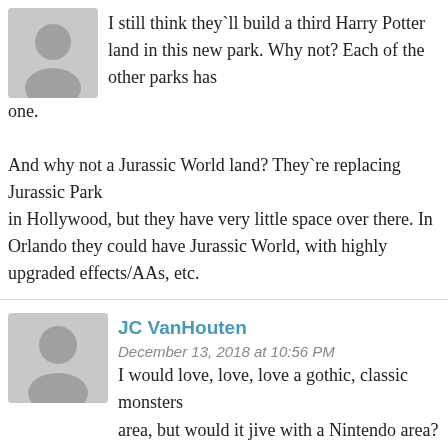I still think they`ll build a third Harry Potter land in this new park. Why not? Each of the other parks has one.

And why not a Jurassic World land? They`re replacing Jurassic Park
in Hollywood, but they have very little space over there. In Orlando they could have Jurassic World, with highly upgraded effects/AAs, etc.
JC VanHouten
December 13, 2018 at 10:56 PM
I would love, love, love a gothic, classic monsters area, but would it jive with a Nintendo area? Probably not. You have to admit that Universal really does not have much in the bank for its franchises, certainly not like Disney. I agree Toon Island is somewhat outdated. If anything gets repurposed, that is a good spot, and it would be ripe for a massive Godzilla area assuming those films do well.